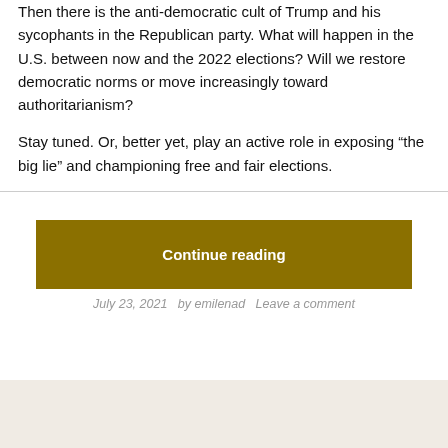Then there is the anti-democratic cult of Trump and his sycophants in the Republican party. What will happen in the U.S. between now and the 2022 elections? Will we restore democratic norms or move increasingly toward authoritarianism?
Stay tuned. Or, better yet, play an active role in exposing “the big lie” and championing free and fair elections.
Continue reading
July 23, 2021   by emilenad   Leave a comment